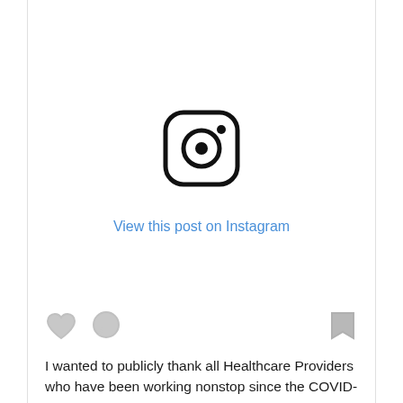[Figure (logo): Instagram camera logo icon — rounded square outline with circle in center and small dot in upper right]
View this post on Instagram
[Figure (other): Social interaction icons: heart (like), speech bubble (comment), and flag/bookmark (share)]
I wanted to publicly thank all Healthcare Providers who have been working nonstop since the COVID-19 outbreak. We put ourselves at risk everyday stepping into the hospital, and that's not because we have to,